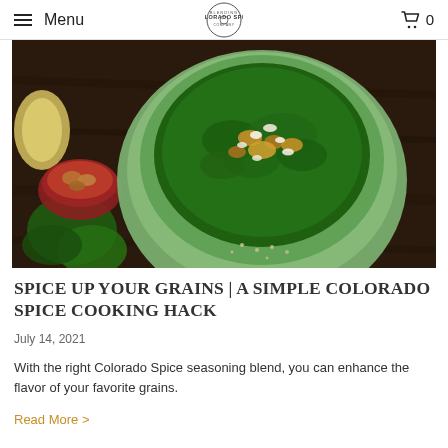Menu | COLORADO SPICE | 0
[Figure (photo): Overhead photo of a green bowl filled with kale salad topped with crumbled cheese and grains, on a dark wood surface with walnuts in a small red bowl and kale leaves nearby]
SPICE UP YOUR GRAINS | A SIMPLE COLORADO SPICE COOKING HACK
July 14, 2021
With the right Colorado Spice seasoning blend, you can enhance the flavor of your favorite grains.
Read More >